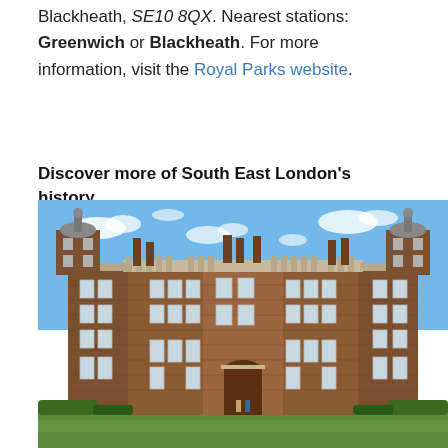Blackheath, SE10 8QX. Nearest stations: Greenwich or Blackheath. For more information, visit the Royal Parks website.
Discover more of South East London's history
[Figure (photo): Photograph of a large historic brick manor house with ornate Jacobean architecture, prominent chimneys, tall mullioned windows, and domed corner towers. The building is photographed from across a green lawn under a blue sky with scattered clouds.]